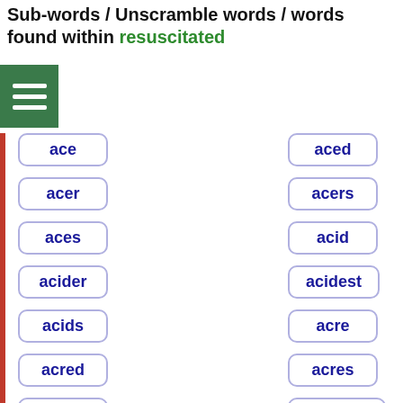Sub-words / Unscramble words / words found within resuscitated
ace
aced
acer
acers
aces
acid
acider
acidest
acids
acre
acred
acres
acrid
acridest